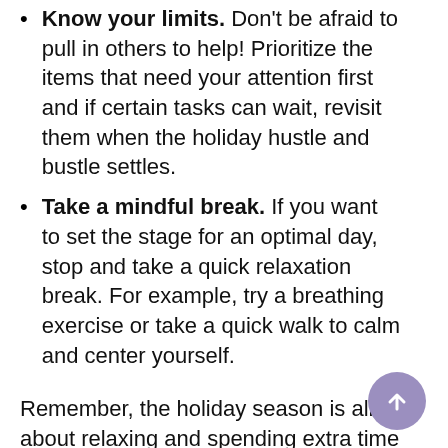Know your limits. Don't be afraid to pull in others to help! Prioritize the items that need your attention first and if certain tasks can wait, revisit them when the holiday hustle and bustle settles.
Take a mindful break. If you want to set the stage for an optimal day, stop and take a quick relaxation break. For example, try a breathing exercise or take a quick walk to calm and center yourself.
Remember, the holiday season is all about relaxing and spending extra time with your loved ones and creating lasting memories!